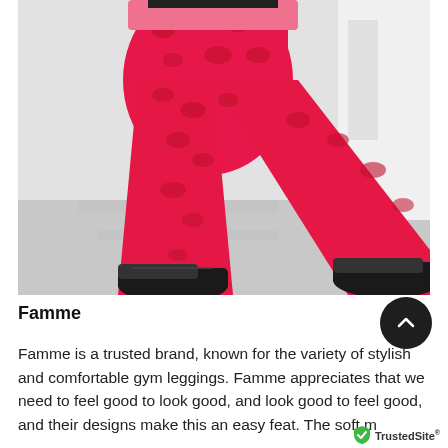[Figure (photo): Woman wearing pink/red leopard print gym leggings and black crop top, performing a lunge exercise outdoors on a light stone surface. Only lower body and mid-section visible. Wearing black sneakers.]
Famme
Famme is a trusted brand, known for the variety of stylish and comfortable gym leggings. Famme appreciates that we need to feel good to look good, and look good to feel good, and their designs make this an easy feat. The soft m
[Figure (logo): TrustedSite logo with green checkmark shield icon]